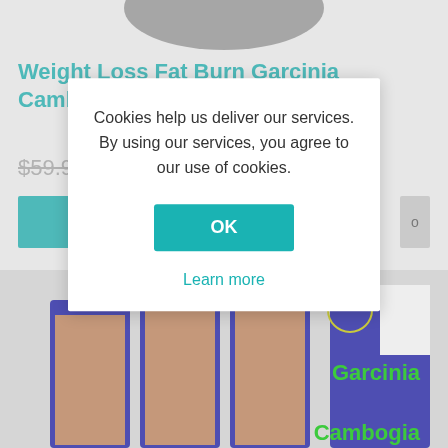[Figure (screenshot): Product page screenshot showing a weight loss supplement with a cookie consent dialog overlaid. Background shows product boxes with Garcinia Cambogia branding.]
Weight Loss Fat Burn Garcinia Cambogia 3000 mg
$59.95  $12.95
Cookies help us deliver our services. By using our services, you agree to our use of cookies.
OK
Learn more